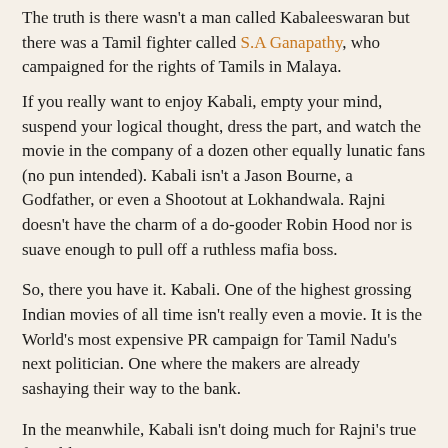The truth is there wasn't a man called Kabaleeswaran but there was a Tamil fighter called S.A Ganapathy, who campaigned for the rights of Tamils in Malaya.
If you really want to enjoy Kabali, empty your mind, suspend your logical thought, dress the part, and watch the movie in the company of a dozen other equally lunatic fans (no pun intended). Kabali isn't a Jason Bourne, a Godfather, or even a Shootout at Lokhandwala. Rajni doesn't have the charm of a do-gooder Robin Hood nor is suave enough to pull off a ruthless mafia boss.
So, there you have it. Kabali. One of the highest grossing Indian movies of all time isn't really even a movie. It is the World's most expensive PR campaign for Tamil Nadu's next politician. One where the makers are already sashaying their way to the bank.
In the meanwhile, Kabali isn't doing much for Rajni's true fans, like me.
My Rating: 5.5
What does the rating mean?
0-4 : Not worth your presence in the same zip code as the